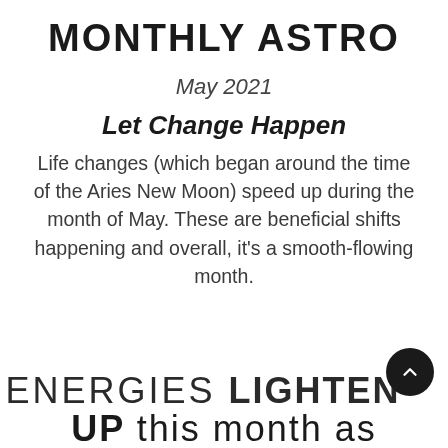MONTHLY ASTRO
May 2021
Let Change Happen
Life changes (which began around the time of the Aries New Moon) speed up during the month of May. These are beneficial shifts happening and overall, it's a smooth-flowing month.
ENERGIES LIGHTEN UP this month as